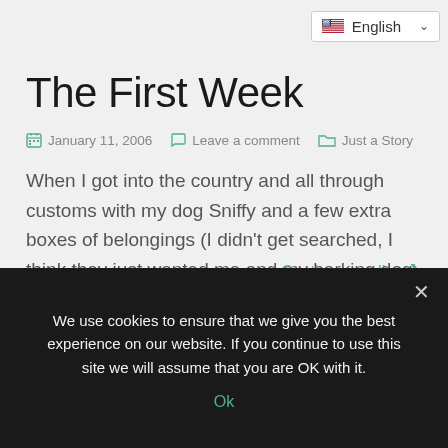English
The First Week
January 11, 2006   Leave a comment   Just a Story
When I got into the country and all through customs with my dog Sniffy and a few extra boxes of belongings (I didn't get searched, I think they just wanted me and my barking dog, who had to pee, out of the airport). I was wheeling down the ramp to my waiting friends. They both [...]
Continue reading ›
We use cookies to ensure that we give you the best experience on our website. If you continue to use this site we will assume that you are OK with it.
Ok